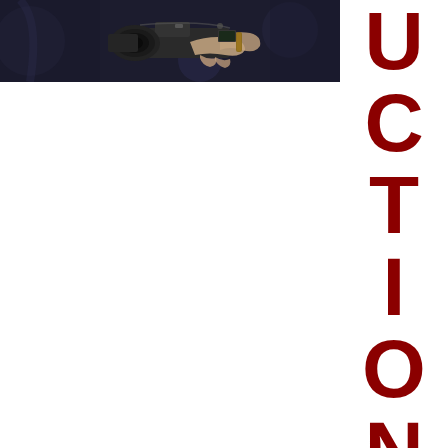[Figure (photo): A person holding a professional camera/filming equipment in a dark studio setting, viewed from the side.]
UCTION CEN